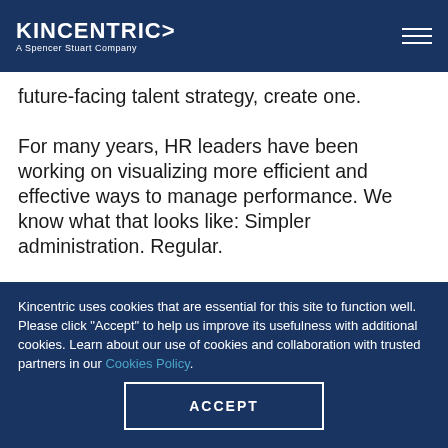KINCENTRIC> A Spencer Stuart Company
future-facing talent strategy, create one.

For many years, HR leaders have been working on visualizing more efficient and effective ways to manage performance. We know what that looks like: Simpler administration. Regular.
Kincentric uses cookies that are essential for this site to function well. Please click "Accept" to help us improve its usefulness with additional cookies. Learn about our use of cookies and collaboration with trusted partners in our Cookies Policy.
ACCEPT